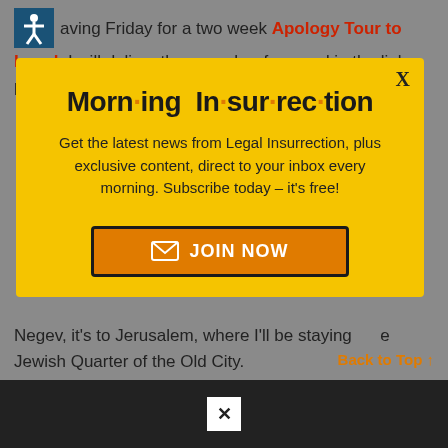...aving Friday for a two week Apology Tour to Israel. I will deliver the speech referenced in the link, possibly.
[Figure (screenshot): Modal popup with yellow background containing Morning Insurrection newsletter signup. Title reads 'Morn·ing In·sur·rec·tion' with orange dots. Body text: 'Get the latest news from Legal Insurrection, plus exclusive content, direct to your inbox every morning. Subscribe today – it's free!' Orange JOIN NOW button with envelope icon. X close button in top right.]
Negev, it's to Jerusalem, where I'll be staying at the Jewish Quarter of the Old City.
[Figure (screenshot): Dark advertisement strip at bottom with white X close button.]